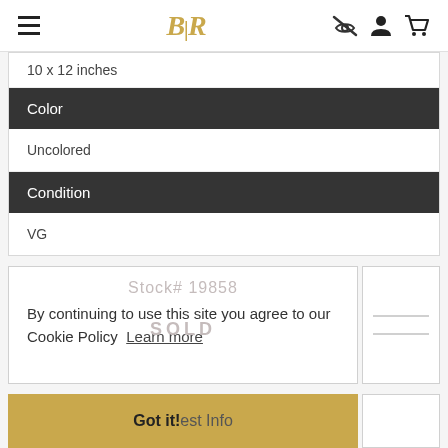BLR — navigation header with hamburger menu, logo, and icons
10 x 12 inches
Color
Uncolored
Condition
VG
Stock# 19858
SOLD
By continuing to use this site you agree to our Cookie Policy  Learn more
Got it!  Request Info
Sell Us a Map